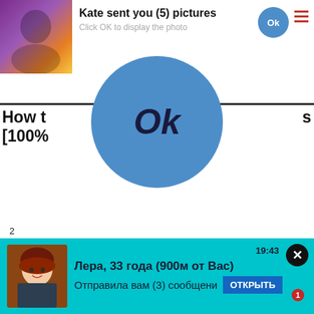[Figure (screenshot): Social media or dating app notification popup showing 'Kate sent you (5) pictures' with 'Click OK to display the photo' subtitle, a small blue OK button top right, and a hamburger menu icon. A large blue OK button circle is displayed in the center of the popup. Below is a partially visible webpage heading. An ad banner at the bottom shows an error screen with Clickadilla ad bar saying 'Ads by Clickadilla' and 'Skip in 5 seconds'. Bottom shows a teal dating notification: 'Лера, 33 года (900м от Вас)' with 'Отправила вам (3) сообщения' and ОТКРЫТЬ button.]